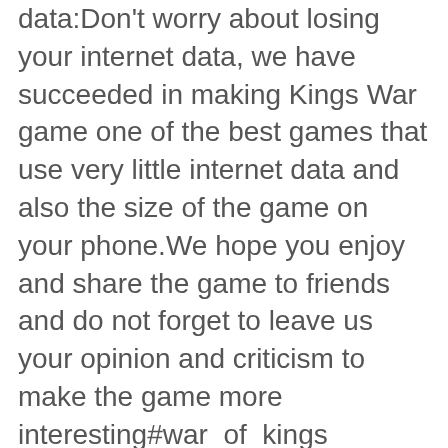data:Don't worry about losing your internet data, we have succeeded in making Kings War game one of the best games that use very little internet data and also the size of the game on your phone.We hope you enjoy and share the game to friends and do not forget to leave us your opinion and criticism to make the game more interesting#war_of_kings
4🔴Fresh to myself, if I had self-appliedBattle of Agents - Offline Multiplayer Shooting Mod Battle of Agents - Offline Multiplayer Shooting Mod APK 0.5.5 Features:It's a offline multiplayer free to play game developed by Xeneva Studio. It's a third person 3D shooting game. Players will have to play against each other.How to Play??Players have to connect their devices under same network and will start